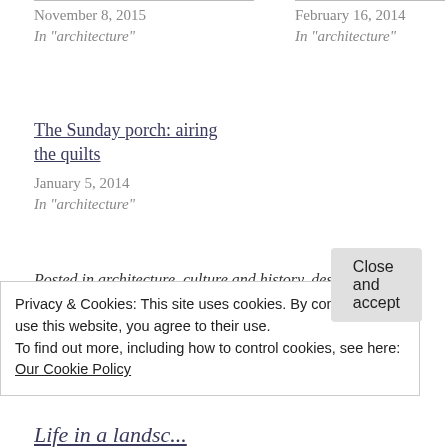November 8, 2015
In "architecture"
February 16, 2014
In "architecture"
The Sunday porch: airing the quilts
January 5, 2014
In "architecture"
Posted in architecture, culture and history, design, garden design, landscape, life in gardens, nature, North American gardens, plants, The Sunday porch, vintage landscape
Privacy & Cookies: This site uses cookies. By continuing to use this website, you agree to their use.
To find out more, including how to control cookies, see here: Our Cookie Policy
Close and accept